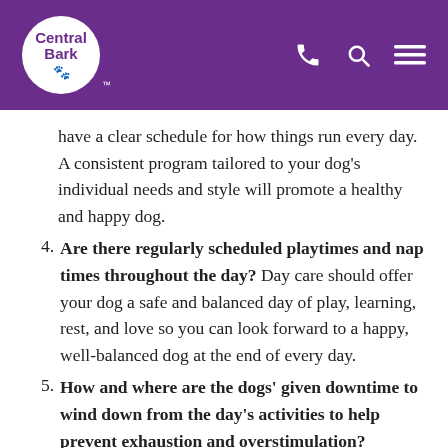Central Bark
have a clear schedule for how things run every day. A consistent program tailored to your dog's individual needs and style will promote a healthy and happy dog.
4. Are there regularly scheduled playtimes and nap times throughout the day? Day care should offer your dog a safe and balanced day of play, learning, rest, and love so you can look forward to a happy, well-balanced dog at the end of every day.
5. How and where are the dogs' given downtime to wind down from the day's activities to help prevent exhaustion and overstimulation?